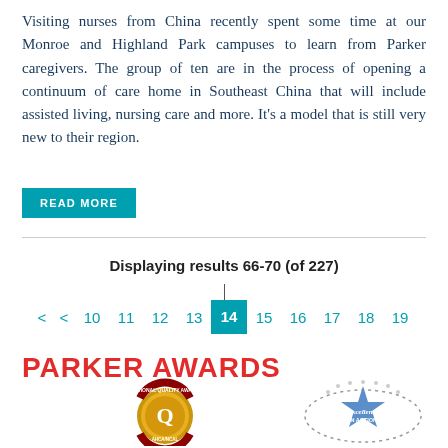Visiting nurses from China recently spent some time at our Monroe and Highland Park campuses to learn from Parker caregivers. The group of ten are in the process of opening a continuum of care home in Southeast China that will include assisted living, nursing care and more. It's a model that is still very new to their region.
READ MORE
Displaying results 66-70 (of 227)
< < 10 11 12 13 14 15 16 17 18 19
PARKER AWARDS
[Figure (logo): National Quality Award gold medal badge with letter Q]
[Figure (logo): Excellence in Action star badge with grey ellipse border]